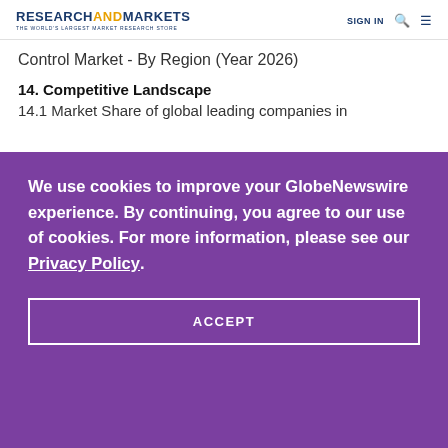RESEARCHANDMARKETS THE WORLD'S LARGEST MARKET RESEARCH STORE | SIGN IN
Control Market - By Region (Year 2026)
14. Competitive Landscape
14.1 Market Share of global leading companies in
We use cookies to improve your GlobeNewswire experience. By continuing, you agree to our use of cookies. For more information, please see our Privacy Policy.
ACCEPT